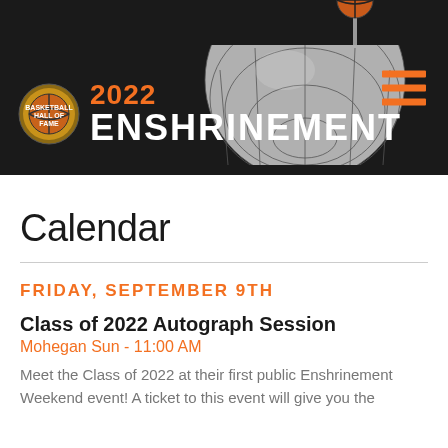[Figure (logo): Basketball Hall of Fame 2022 Enshrinement logo with globe graphic, basketball on pole, and hamburger menu icon on dark background]
Calendar
FRIDAY, SEPTEMBER 9TH
Class of 2022 Autograph Session
Mohegan Sun - 11:00 AM
Meet the Class of 2022 at their first public Enshrinement Weekend event! A ticket to this event will give you the